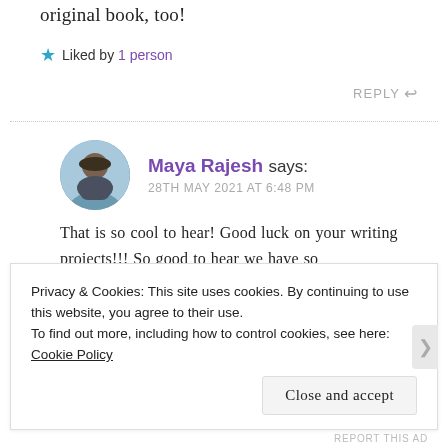original book, too!
★ Liked by 1 person
REPLY ↩
Maya Rajesh says: 28TH MAY 2021 AT 6:48 PM
That is so cool to hear! Good luck on your writing projects!!! So good to hear we have so
Privacy & Cookies: This site uses cookies. By continuing to use this website, you agree to their use.
To find out more, including how to control cookies, see here: Cookie Policy
Close and accept